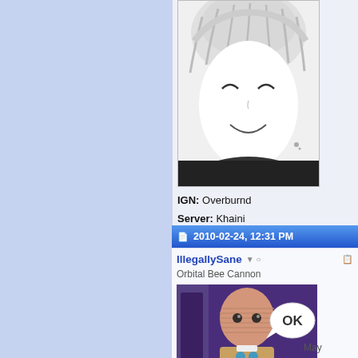[Figure (screenshot): Forum screenshot showing two sections: top is a user profile with manga avatar and game character info (IGN: Overburnd, Server: Khaini, Level: 210, Job: Cannoneer, Guild: Contagious, US flag), bottom is a post by IllegallySane with title 'Orbital Bee Cannon' and an image of One Punch Man character saying OK]
IGN: Overburnd
Server: Khaini
Level: 210
Job: Cannoneer
Guild: Contagious
2010-02-24, 12:31 PM
IllegallySane
Orbital Bee Cannon